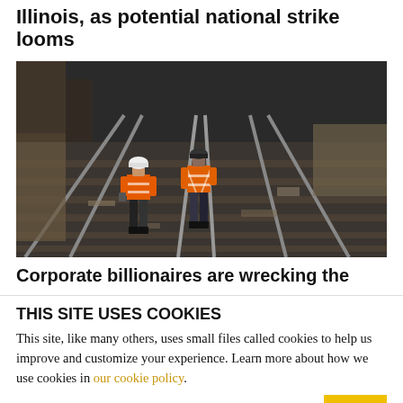Illinois, as potential national strike looms
[Figure (photo): Two workers in orange high-visibility vests and hard hats walk along railroad tracks viewed from behind. The tracks are surrounded by gravel, debris, and rail ties. Multiple rail lines are visible converging in the background.]
Corporate billionaires are wrecking the
THIS SITE USES COOKIES
This site, like many others, uses small files called cookies to help us improve and customize your experience. Learn more about how we use cookies in our cookie policy.
Learn more about cookies
OK